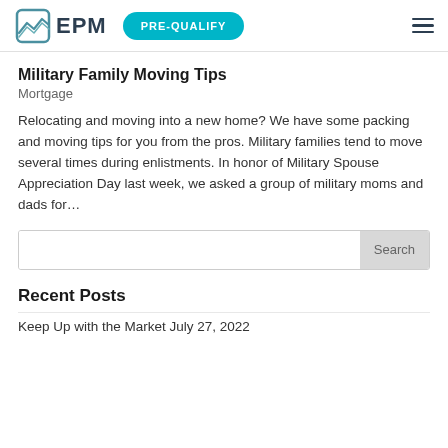EPM | PRE-QUALIFY
Military Family Moving Tips
Mortgage
Relocating and moving into a new home? We have some packing and moving tips for you from the pros. Military families tend to move several times during enlistments. In honor of Military Spouse Appreciation Day last week, we asked a group of military moms and dads for…
Recent Posts
Keep Up with the Market July 27, 2022